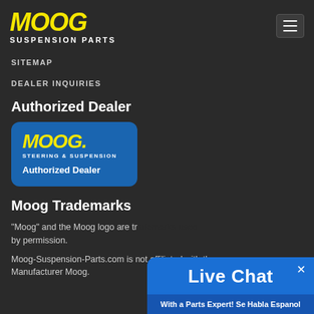[Figure (logo): MOOG Suspension Parts logo in yellow italic text with white SUSPENSION PARTS subtitle on dark background]
SITEMAP
DEALER INQUIRIES
Authorized Dealer
[Figure (logo): MOOG Steering & Suspension Authorized Dealer badge on blue rounded rectangle background]
Moog Trademarks
"Moog" and the Moog logo are tr... by permission.
Moog-Suspension-Parts.com is not affiliated with the Manufacturer Moog.
[Figure (screenshot): Live Chat overlay popup with blue background, X close button, 'Live Chat' title, and 'With a Parts Expert! Se Habla Espanol' subtitle]